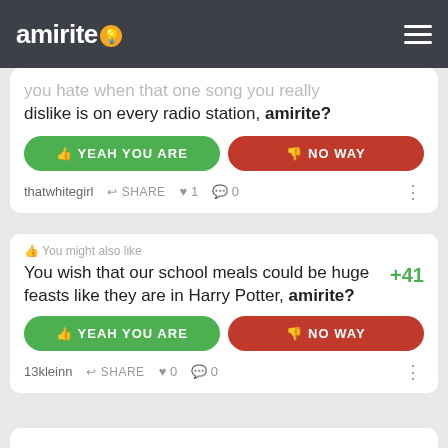amirite?
you hate when that one song you really dislike is on every radio station, amirite?
YEAH YOU ARE | NO WAY
thatwhitegirl  SHARE  ♥ 1  💬 0
You might also like
You wish that our school meals could be huge feasts like they are in Harry Potter, amirite?  +41
YEAH YOU ARE | NO WAY
13kleinn  SHARE  ♥ 0  💬 0